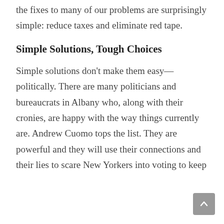the fixes to many of our problems are surprisingly simple: reduce taxes and eliminate red tape.
Simple Solutions, Tough Choices
Simple solutions don't make them easy—politically. There are many politicians and bureaucrats in Albany who, along with their cronies, are happy with the way things currently are. Andrew Cuomo tops the list. They are powerful and they will use their connections and their lies to scare New Yorkers into voting to keep